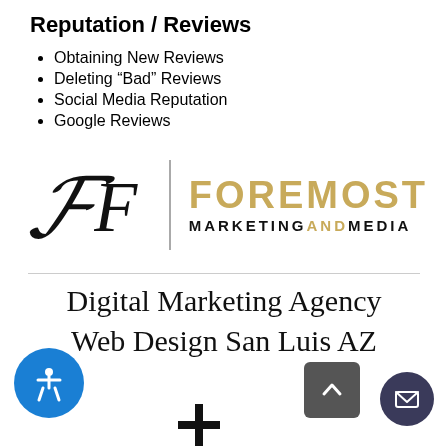Reputation / Reviews
Obtaining New Reviews
Deleting “Bad” Reviews
Social Media Reputation
Google Reviews
[Figure (logo): Foremost Marketing and Media logo with stylized italic F and gold FOREMOST text with MARKETINGANDMEDIA below]
Digital Marketing Agency
Web Design San Luis AZ